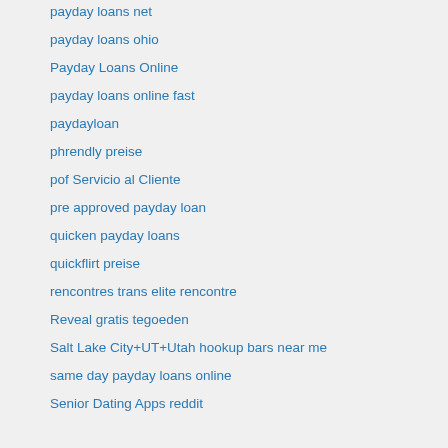payday loans net
payday loans ohio
Payday Loans Online
payday loans online fast
paydayloan
phrendly preise
pof Servicio al Cliente
pre approved payday loan
quicken payday loans
quickflirt preise
rencontres trans elite rencontre
Reveal gratis tegoeden
Salt Lake City+UT+Utah hookup bars near me
same day payday loans online
Senior Dating Apps reddit